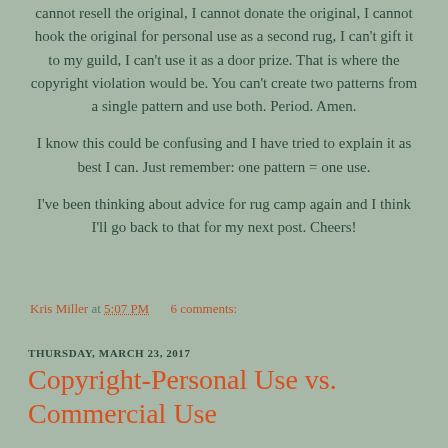cannot resell the original, I cannot donate the original, I cannot hook the original for personal use as a second rug, I can't gift it to my guild, I can't use it as a door prize.   That is where the copyright violation would be.  You can't create two patterns from a single pattern and use both. Period. Amen.
I know this could be confusing and I have tried to explain it as best I can.   Just remember:  one pattern = one use.
I've been thinking about advice for rug camp again and I think I'll go back to that for my next post.  Cheers!
Kris Miller at 5:07 PM    6 comments:
THURSDAY, MARCH 23, 2017
Copyright-Personal Use vs. Commercial Use